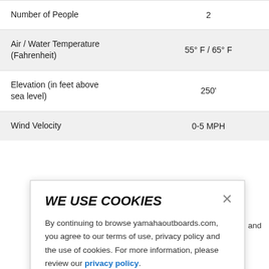| Number of People | 2 |
| Air / Water Temperature (Fahrenheit) | 55° F / 65° F |
| Elevation (in feet above sea level) | 250' |
| Wind Velocity | 0-5 MPH |
WE USE COOKIES
By continuing to browse yamahaoutboards.com, you agree to our terms of use, privacy policy and the use of cookies. For more information, please review our privacy policy.